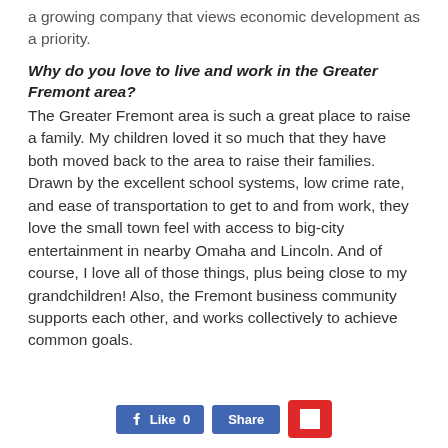a growing company that views economic development as a priority.
Why do you love to live and work in the Greater Fremont area?
The Greater Fremont area is such a great place to raise a family. My children loved it so much that they have both moved back to the area to raise their families. Drawn by the excellent school systems, low crime rate, and ease of transportation to get to and from work, they love the small town feel with access to big-city entertainment in nearby Omaha and Lincoln. And of course, I love all of those things, plus being close to my grandchildren! Also, the Fremont business community supports each other, and works collectively to achieve common goals.
[Figure (other): Facebook Like button showing 0 likes, Facebook Share button, and Flipboard red icon button]